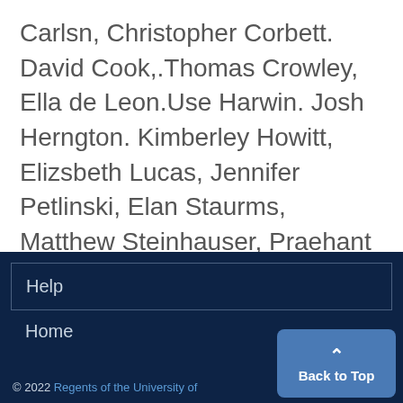Carlsn, Christopher Corbett. David Cook,.Thomas Crowley, Ella de Leon.Use Harwin. Josh Herngton. Kimberley Howitt, Elizsbeth Lucas, Jennifer Petlinski, Elan Staurms, Matthew Steinhauser, Praehant TaePekar, Ted WattsJ Mchael Zienden, - Mioak"LdNw
Help
Home
© 2022 Regents of the University of